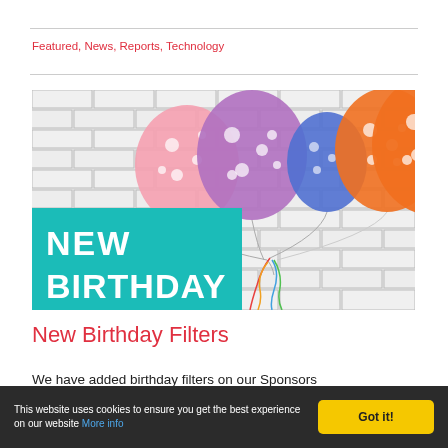Featured, News, Reports, Technology
[Figure (illustration): Hero banner image showing colorful polka-dot balloons (pink, purple, blue, orange) against a white brick wall background, with a teal/cyan rectangle overlay in the lower-left containing bold white text 'NEW BIRTHDAY']
New Birthday Filters
We have added birthday filters on our Sponsors Report and on the custom Supporter Experts
This website uses cookies to ensure you get the best experience on our website More info